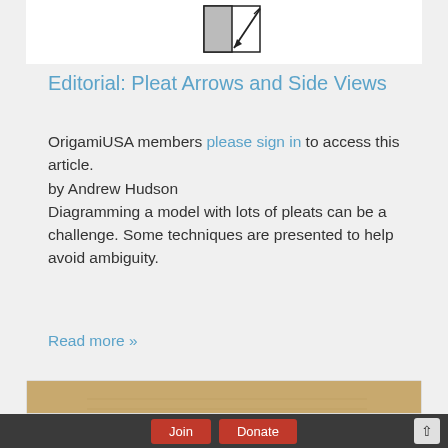[Figure (illustration): Origami diagram showing a square with a shaded region and diagonal arrow lines]
Editorial: Pleat Arrows and Side Views
OrigamiUSA members please sign in to access this article.
by Andrew Hudson
Diagramming a model with lots of pleats can be a challenge. Some techniques are presented to help avoid ambiguity.
Read more »
[Figure (photo): Aged/vintage paper background with a red circular emblem visible at bottom left]
Join   Donate